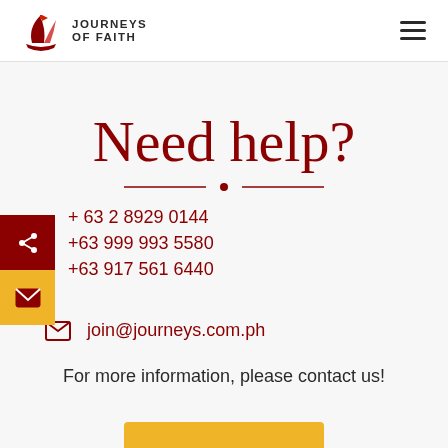Journeys of Faith
Need help?
+ 63 2 8929 0144
+63 999 993 5580
+63 917 561 6440
join@journeys.com.ph
For more information, please contact us!